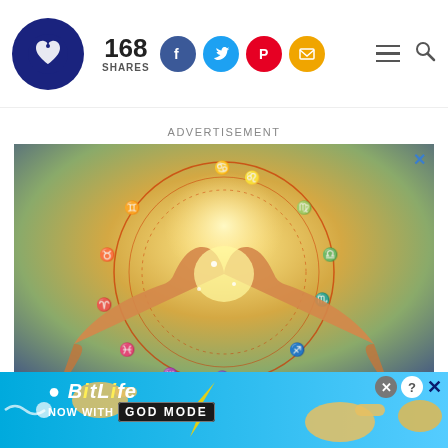168 SHARES — social share bar with Facebook, Twitter, Pinterest, Email icons
ADVERTISEMENT
[Figure (photo): Zodiac wheel horoscope graphic with two hands forming a heart shape, sun rays in background, zodiac symbols around a circle. YourTango has a FREE horoscopes text at bottom.]
[Figure (infographic): BitLife game advertisement banner — NOW WITH GOD MODE, blue background with cartoon hands and lightning bolt.]